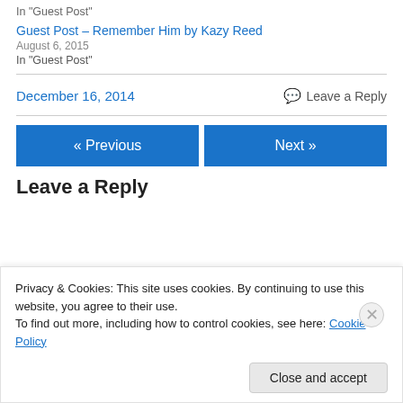In "Guest Post"
Guest Post – Remember Him by Kazy Reed
August 6, 2015
In "Guest Post"
December 16, 2014
Leave a Reply
« Previous
Next »
Leave a Reply
Privacy & Cookies: This site uses cookies. By continuing to use this website, you agree to their use.
To find out more, including how to control cookies, see here: Cookie Policy
Close and accept